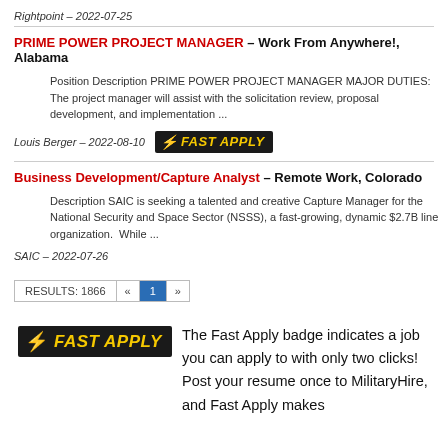Rightpoint — 2022-07-25
PRIME POWER PROJECT MANAGER — Work From Anywhere!, Alabama
Position Description PRIME POWER PROJECT MANAGER MAJOR DUTIES: The project manager will assist with the solicitation review, proposal development, and implementation ...
Louis Berger — 2022-08-10
Business Development/Capture Analyst — Remote Work, Colorado
Description SAIC is seeking a talented and creative Capture Manager for the National Security and Space Sector (NSSS), a fast-growing, dynamic $2.7B line organization.  While ...
SAIC — 2022-07-26
RESULTS: 1866  « 1 »
The Fast Apply badge indicates a job you can apply to with only two clicks! Post your resume once to MilitaryHire, and Fast Apply makes